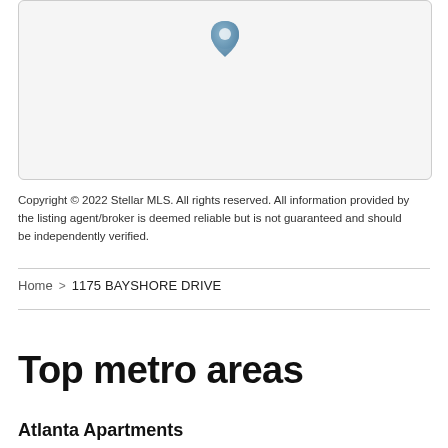[Figure (map): Map view with a single location pin marker indicating 1175 Bayshore Drive property location]
Copyright © 2022 Stellar MLS. All rights reserved. All information provided by the listing agent/broker is deemed reliable but is not guaranteed and should be independently verified.
Home > 1175 BAYSHORE DRIVE
Top metro areas
Atlanta Apartments